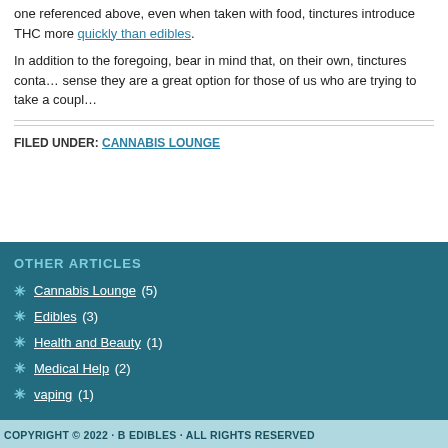one referenced above, even when taken with food, tinctures introduce THC more quickly than edibles.
In addition to the foregoing, bear in mind that, on their own, tinctures contain a sense they are a great option for those of us who are trying to take a couple
FILED UNDER: CANNABIS LOUNGE
OTHER ARTICLES
Cannabis Lounge (5)
Edibles (3)
Health and Beauty (1)
Medical Help (2)
vaping (1)
COPYRIGHT © 2022 · B EDIBLES · ALL RIGHTS RESERVED